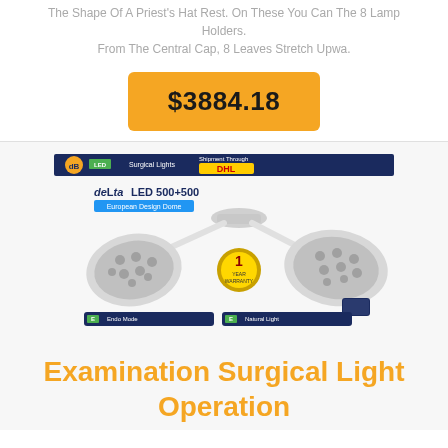The Shape Of A Priest's Hat Rest. On These You Can The 8 Lamp Holders. From The Central Cap, 8 Leaves Stretch Upwa.
$3884.18
[Figure (photo): Product photo of Delta LED 500+500 surgical examination light with dual lamp heads, ceiling mount, showing 'European Design Dome', DHL shipment badge, 1-year warranty seal, Endo Mode and Natural Light modes. Brand: deLta LED.]
Examination Surgical Light Operation